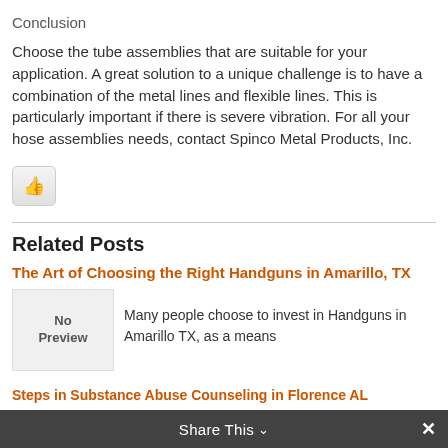Conclusion
Choose the tube assemblies that are suitable for your application. A great solution to a unique challenge is to have a combination of the metal lines and flexible lines. This is particularly important if there is severe vibration. For all your hose assemblies needs, contact Spinco Metal Products, Inc.
[Figure (illustration): Thumbs up button icon]
Related Posts
The Art of Choosing the Right Handguns in Amarillo, TX
Many people choose to invest in Handguns in Amarillo TX, as a means
Steps in Substance Abuse Counseling in Florence AL
Share This